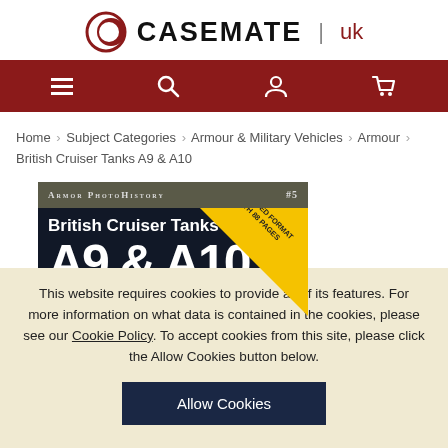[Figure (logo): Casemate UK logo with crescent moon icon, bold CASEMATE text and 'uk' in dark red]
[Figure (screenshot): Dark red navigation bar with hamburger menu, search, account, and cart icons]
Home > Subject Categories > Armour & Military Vehicles > Armour > British Cruiser Tanks A9 & A10
[Figure (photo): Book cover for 'British Cruiser Tanks' from Armor PhotoHistory series #5, showing dark cover with yellow diagonal banner reading EXPANDED FORMAT WITH 88 PAGES and white text British Cruiser Tanks]
This website requires cookies to provide all of its features. For more information on what data is contained in the cookies, please see our Cookie Policy. To accept cookies from this site, please click the Allow Cookies button below.
Allow Cookies